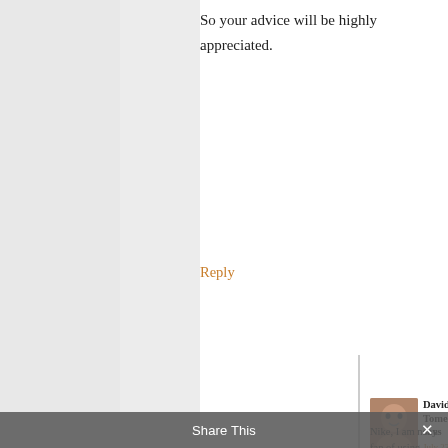So your advice will be highly appreciated.
Reply
David Tomen says
July 23, 2022 at 6:36 pm
Nike, I am not a fan of using isolated B-Vitamins because for serotonin synthesis you need magnesium,
Share This